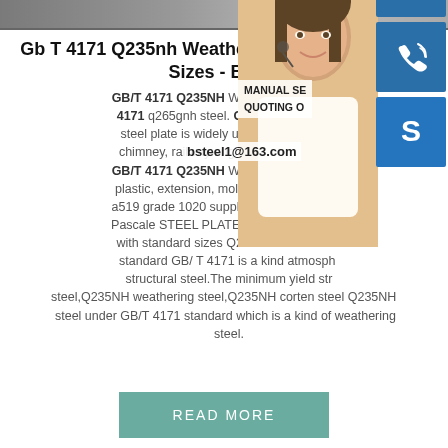[Figure (photo): Top banner image, dark gray gradient strip]
Gb T 4171 Q235nh Weather Steel With Standard Sizes - BDN .
GB/T 4171 Q235NH Weathering resistant steel is similar to GB/T 4171 q265gnh steel. GB/T 4171 Q235NH weather resistant steel plate is widely used in producing chimney, railway engineering and other GB/T 4171 Q235NH Weathering resistant properties include plastic, extension, molding, cutting ...sp. a519 grade 1020 supplier - Vakantiehuisje Pascale STEEL PLATE China GB T 4171 with standard sizes Q235NH steel is made to standard GB/ T 4171 is a kind atmospheric structural steel.The minimum yield strength of Q235NH steel,Q235NH weathering steel,Q235NH corten steel Q235NH steel under GB/T 4171 standard which is a kind of weathering steel.
[Figure (photo): Woman with headset customer service photo with blue icon buttons for chat, phone, and Skype, and overlay text MANUAL SE... QUOTING O... bsteel1@163.com]
[Figure (other): READ MORE button in teal/green color]